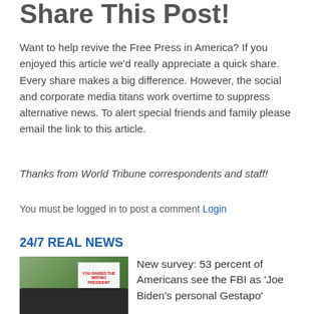Share This Post!
Want to help revive the Free Press in America? If you enjoyed this article we'd really appreciate a quick share. Every share makes a big difference. However, the social and corporate media titans work overtime to suppress alternative news. To alert special friends and family please email the link to this article.
Thanks from World Tribune correspondents and staff!
You must be logged in to post a comment Login
24/7 REAL NEWS
[Figure (photo): Photograph showing law enforcement vehicles and a protest sign reading 'YOU RAIDED THE WRONG PRESIDENT' in front of what appears to be a building with palm trees]
New survey: 53 percent of Americans see the FBI as 'Joe Biden's personal Gestapo'